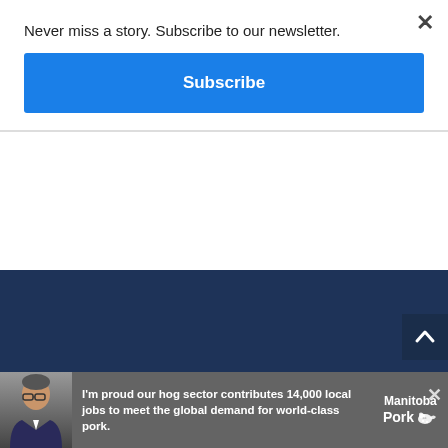Never miss a story. Subscribe to our newsletter.
Subscribe
JOIN
Sign up
[Figure (screenshot): Back to top scroll button, dark navy background]
I'm proud our hog sector contributes 14,000 local jobs to meet the global demand for world-class pork.
[Figure (logo): Manitoba Pork logo with stylized pig icon]